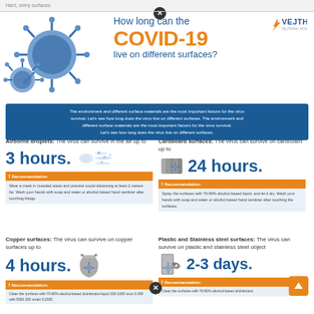Hard, shiny surfaces.
[Figure (illustration): Blue spiky COVID-19 coronavirus particles illustration]
How long can the COVID-19 live on different surfaces?
The environment and different surface materials are the most important factors for the virus survival. Let's see how long does the virus live on different surfaces. The environment and different surface materials are the most important factors for the virus survival. Let's see how long does the virus live on different surfaces.
Airborne droplets: The virus can survive in the air up to 3 hours.
Recommendation: Wear a mask in crowded areas and practice social distancing at least 2 meters far. Wash your hands with soap and water or alcohol-based hand sanitizer after touching things.
Cardboard surfaces: The virus can survive on cardboard up to 24 hours.
Recommendation: Spray the surfaces with 70-90% alcohol-based liquid, and let it dry. Wash your hands with soap and water or alcohol-based hand sanitizer after touching the surfaces.
Copper surfaces: The virus can survive on copper surfaces up to 4 hours.
Recommendation: Clean the surfaces with 70-90% alcohol-based disinfectant liquid 200-1000 virus 0.009 with 5000 200 under 0.2000.
Plastic and Stainless steel surfaces: The virus can survive on plastic and stainless steel objects 2-3 days.
Recommendation: Clean the surfaces with 70-90% alcohol-based disinfectant